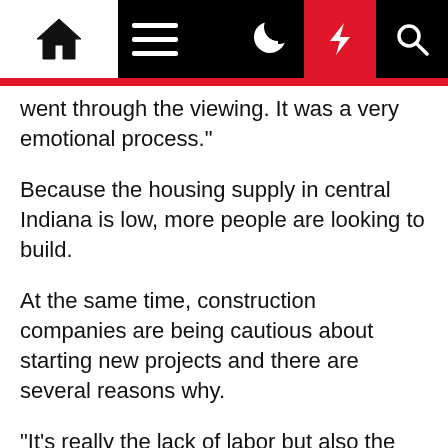Navigation bar with home, menu, moon, lightning, search icons
went through the viewing. It was a very emotional process."
Because the housing supply in central Indiana is low, more people are looking to build.
At the same time, construction companies are being cautious about starting new projects and there are several reasons why.
“It’s really the lack of labor but also the cost of labor,” Drake Branda, Director of Government Affairs at BAGI, said.
Supply chain issues are also creating problems. Pete Gray is the owner of Executive Homes in Indianapolis.
Gray said, because demand is so high for homes, the